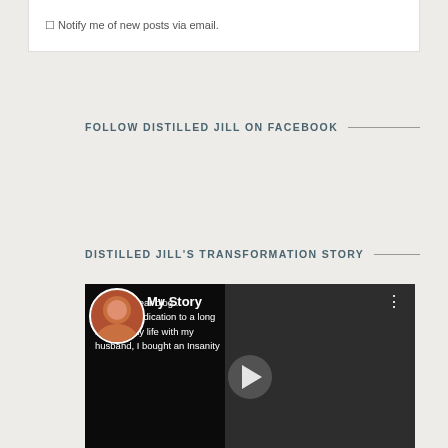Notify me of new posts via email.
FOLLOW DISTILLED JILL ON FACEBOOK
DISTILLED JILL'S TRANSFORMATION STORY
[Figure (screenshot): Video thumbnail showing 'My Story' with a woman's avatar, text about dedication to a long and healthy life with husband, bought an Insanity program, play button overlay, and city background.]